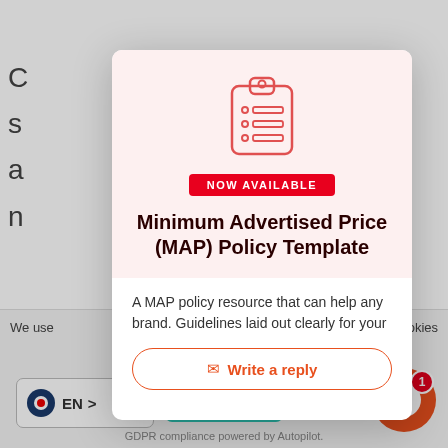[Figure (screenshot): Website modal popup on a partially visible webpage background. The modal shows a clipboard icon, 'NOW AVAILABLE' badge in red, title 'Minimum Advertised Price (MAP) Policy Template', descriptive text, and a 'Write a reply' button. The background page has partial text visible and a red vertical bar. Bottom of page shows a cookie consent bar with language selector, Accept button, GDPR notice, and a chat support bubble with notification badge '1'.]
Minimum Advertised Price (MAP) Policy Template
A MAP policy resource that can help any brand. Guidelines laid out clearly for your
Write a reply
We use
to be used, click accept.
Accept
GDPR compliance powered by Autopilot.